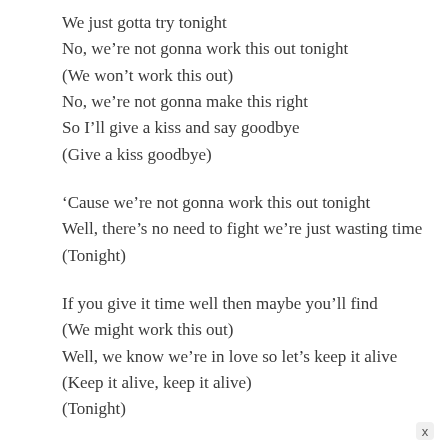We just gotta try tonight
No, we're not gonna work this out tonight
(We won't work this out)
No, we're not gonna make this right
So I'll give a kiss and say goodbye
(Give a kiss goodbye)
'Cause we're not gonna work this out tonight
Well, there's no need to fight we're just wasting time
(Tonight)
If you give it time well then maybe you'll find
(We might work this out)
Well, we know we're in love so let's keep it alive
(Keep it alive, keep it alive)
(Tonight)
I'm starting to see the morning light
We've finally worked this out